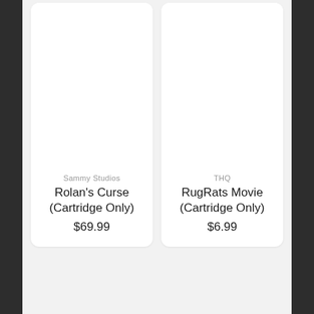[Figure (screenshot): Two product listing cards side by side on a light gray background. Left card: publisher 'Sammy Studios', title 'Rolan's Curse (Cartridge Only)', price '$69.99'. Right card: publisher 'THQ', title 'RugRats Movie (Cartridge Only)', price '$6.99'. Cards have white background with rounded corners.]